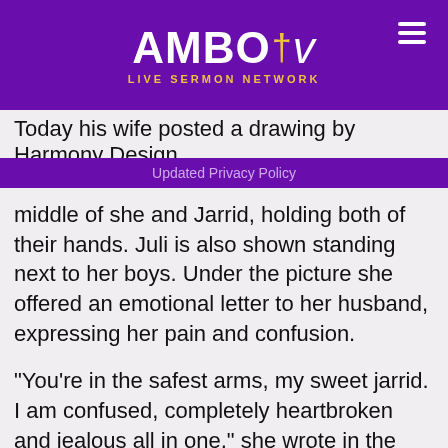AMBO tv LIVE SERMON NETWORK
Today his wife posted a drawing by Harmony Design
Updated Privacy Policy
middle of she and Jarrid, holding both of their hands. Juli is also shown standing next to her boys. Under the picture she offered an emotional letter to her husband, expressing her pain and confusion.
“You’re in the safest arms, my sweet jarrid. I am confused, completely heartbroken and jealous all in one,” she wrote in the caption. “You are in HIS presence. What a glorious day that will be when we are all reunited at his feet together.”